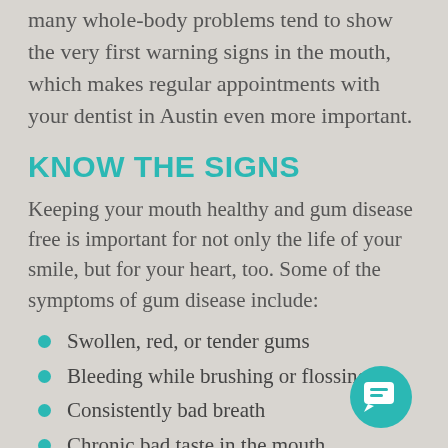many whole-body problems tend to show the very first warning signs in the mouth, which makes regular appointments with your dentist in Austin even more important.
KNOW THE SIGNS
Keeping your mouth healthy and gum disease free is important for not only the life of your smile, but for your heart, too. Some of the symptoms of gum disease include:
Swollen, red, or tender gums
Bleeding while brushing or flossing
Consistently bad breath
Chronic bad taste in the mouth
Loose teeth